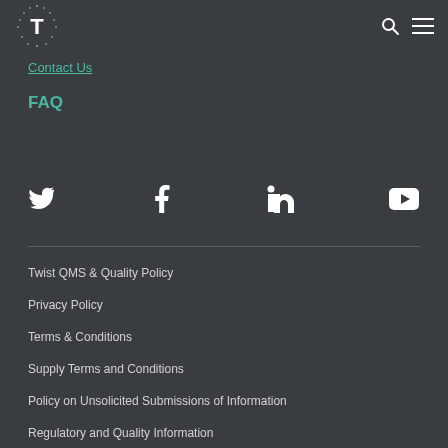[Figure (logo): Twist Bioscience logo - letter T with dotted border]
Contact Us
FAQ
[Figure (infographic): Social media icons row: Twitter, Facebook, LinkedIn, YouTube]
Twist QMS & Quality Policy
Privacy Policy
Terms & Conditions
Supply Terms and Conditions
Policy on Unsolicited Submissions of Information
Regulatory and Quality Information